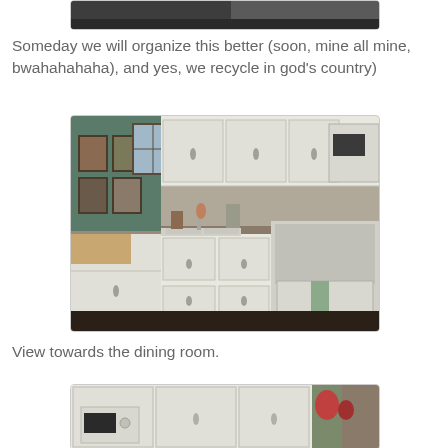[Figure (photo): Partial view of kitchen/garage area showing recycling items, top portion cropped]
Someday we will organize this better (soon, mine all mine, bwahahahaha), and yes, we recycle in god's country)
[Figure (photo): Kitchen interior with white cabinets, countertops, sink, appliances including microwave and stove. Dark teal/green walls visible on left side with framed art. Kitchen forms an L-shape.]
View towards the dining room.
[Figure (photo): View of white upper kitchen cabinets and built-in microwave, with decorative items visible on right side near brick fireplace area.]